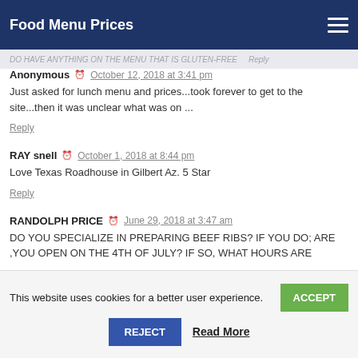Food Menu Prices
DO HAVE ANYTHING ON THE MENU THAT IS GLUTEN-FREE
Reply
Anonymous  October 12, 2018 at 3:41 pm
Just asked for lunch menu and prices...took forever to get to the site...then it was unclear what was on ...
Reply
RAY snell  October 1, 2018 at 8:44 pm
Love Texas Roadhouse in Gilbert Az. 5 Star
Reply
RANDOLPH PRICE  June 29, 2018 at 3:47 am
DO YOU SPECIALIZE IN PREPARING BEEF RIBS? IF YOU DO; ARE ,YOU OPEN ON THE 4TH OF JULY? IF SO, WHAT HOURS ARE
This website uses cookies for a better user experience.
ACCEPT
REJECT
Read More